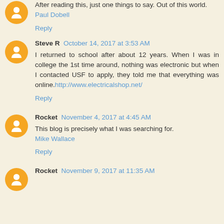After reading this, just one things to say. Out of this world. Paul Dobell
Reply
Steve R  October 14, 2017 at 3:53 AM
I returned to school after about 12 years. When I was in college the 1st time around, nothing was electronic but when I contacted USF to apply, they told me that everything was online. http://www.electricalshop.net/
Reply
Rocket  November 4, 2017 at 4:45 AM
This blog is precisely what I was searching for. Mike Wallace
Reply
Rocket  November 9, 2017 at 11:35 AM